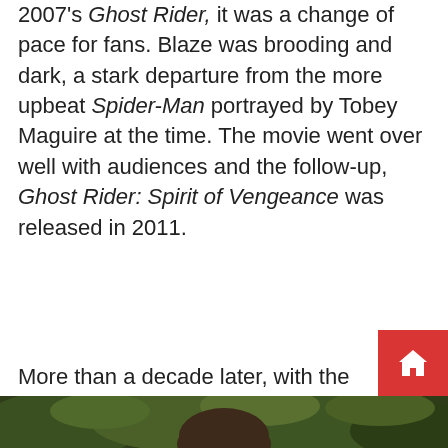2007's Ghost Rider, it was a change of pace for fans. Blaze was brooding and dark, a stark departure from the more upbeat Spider-Man portrayed by Tobey Maguire at the time. The movie went over well with audiences and the follow-up, Ghost Rider: Spirit of Vengeance was released in 2011.
More than a decade later, with the established Marvel Cinematic Universe planning to bring back various legacy characters, Nicolas Cage has shared his thoughts on returning as Ghost Rider. Speaking to The Hollywood Reporter, the veteran actor praised the superhero genre but remained vague when asked about a rumored appearance as the character in Doctor Strange in the Multiverse of Madness.
[Figure (photo): Bottom strip showing the top of a person's head with dark hair against a green/foliage background]